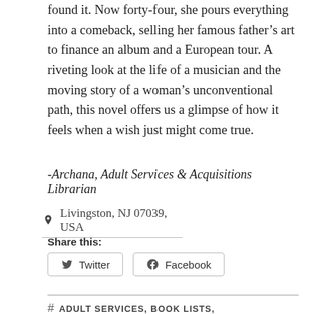found it. Now forty-four, she pours everything into a comeback, selling her famous father’s art to finance an album and a European tour. A riveting look at the life of a musician and the moving story of a woman’s unconventional path, this novel offers us a glimpse of how it feels when a wish just might come true.
-Archana, Adult Services & Acquisitions Librarian
Livingston, NJ 07039, USA
Share this:
Twitter
Facebook
# ADULT SERVICES, BOOK LISTS,